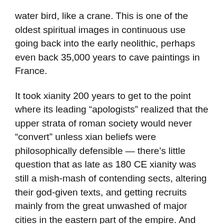water bird, like a crane. This is one of the oldest spiritual images in continuous use going back into the early neolithic, perhaps even back 35,000 years to cave paintings in France.
It took xianity 200 years to get to the point where its leading “apologists” realized that the upper strata of roman society would never “convert” unless xian beliefs were philosophically defensible — there’s little question that as late as 180 CE xianity was still a mish-mash of contending sects, altering their god-given texts, and getting recruits mainly from the great unwashed of major cities in the eastern part of the empire. And the “pagans” said so.
For this — see Celsus’ critique of xianity circa